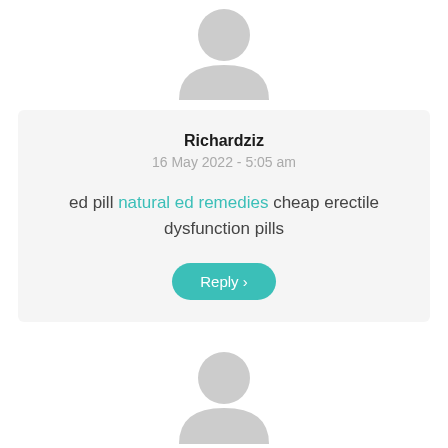[Figure (illustration): Gray default user avatar icon (head and shoulders silhouette) at top center]
Richardziz
16 May 2022 - 5:05 am
ed pill natural ed remedies cheap erectile dysfunction pills
Reply >
[Figure (illustration): Gray default user avatar icon (head and shoulders silhouette) at bottom center]